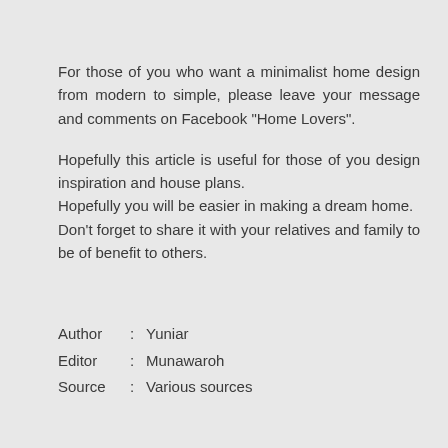For those of you who want a minimalist home design from modern to simple, please leave your message and comments on Facebook "Home Lovers".
Hopefully this article is useful for those of you design inspiration and house plans.
Hopefully you will be easier in making a dream home.
Don't forget to share it with your relatives and family to be of benefit to others.
Author   : Yuniar
Editor    : Munawaroh
Source  : Various sources